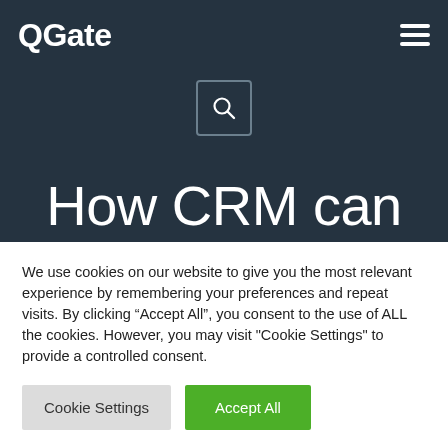QGate
How CRM can help SMBs to
We use cookies on our website to give you the most relevant experience by remembering your preferences and repeat visits. By clicking “Accept All”, you consent to the use of ALL the cookies. However, you may visit "Cookie Settings" to provide a controlled consent.
Cookie Settings
Accept All